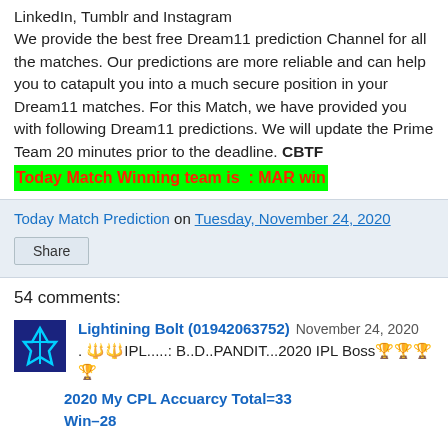LinkedIn, Tumblr and Instagram
We provide the best free Dream11 prediction Channel for all the matches. Our predictions are more reliable and can help you to catapult you into a much secure position in your Dream11 matches. For this Match, we have provided you with following Dream11 predictions. We will update the Prime Team 20 minutes prior to the deadline. CBTF Today Match Winning team is : MAR win
Today Match Prediction on Tuesday, November 24, 2020
Share
54 comments:
Lightining Bolt (01942063752) November 24, 2020
. 🔱🔱IPL.....: B..D..PANDIT...2020 IPL Boss🏆🏆🏆🏆
2020 My CPL Accuarcy Total=33
Win–28